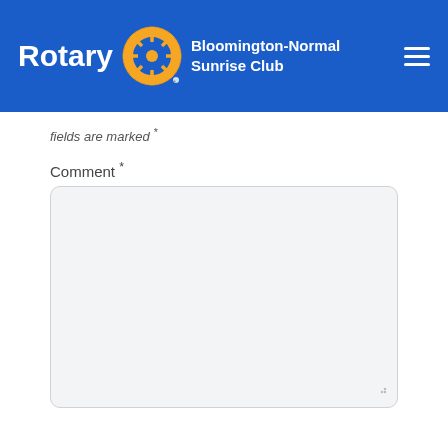Rotary Bloomington-Normal Sunrise Club
fields are marked *
Comment *
[Figure (screenshot): Comment text area input box, empty, with light gray background and rounded corners]